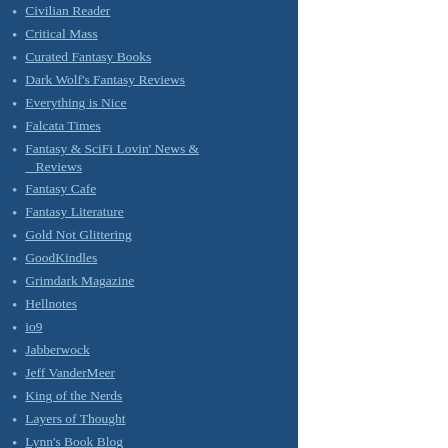Civilian Reader
Critical Mass
Curated Fantasy Books
Dark Wolf's Fantasy Reviews
Everything is Nice
Falcata Times
Fantasy & SciFi Lovin' News & Reviews
Fantasy Cafe
Fantasy Literature
Gold Not Glittering
GoodKindles
Grimdark Magazine
Hellnotes
io9
Jabberwock
Jeff VanderMeer
King of the Nerds
Layers of Thought
Lynn's Book Blog
Neth Space
Novel Notions
Omnivoracious
Only The Best Science Fiction & Fantasy
Pat's Fantasy Hotlist
OVERVIEW: At Ever After legends prepare themselves Prince Charmings and Evi students sign the Storybook of Book End has whispered